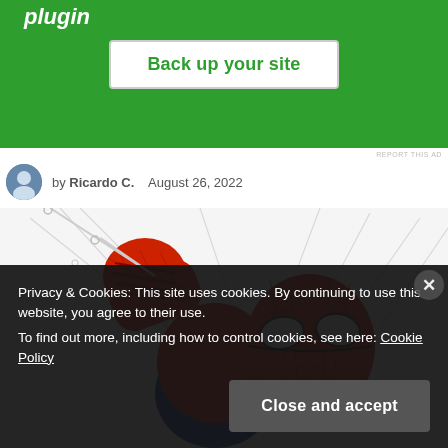[Figure (screenshot): Green advertisement banner with white 'Back up your site' button]
by Ricardo C.    August 26, 2022
[Figure (illustration): Comic-book style illustration of Spider-Man swinging with fist raised, surrounded by web strands]
Privacy & Cookies: This site uses cookies. By continuing to use this website, you agree to their use.
To find out more, including how to control cookies, see here: Cookie Policy
Close and accept